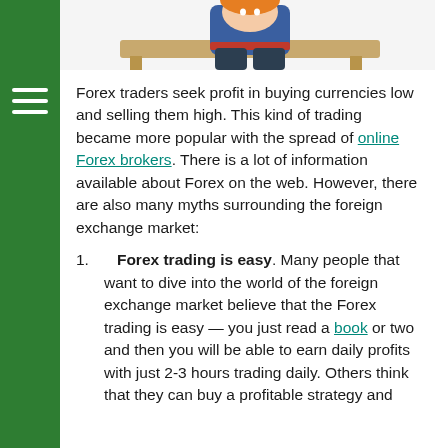[Figure (illustration): Partial illustration of a cartoon character sitting at a desk, upper portion visible at top of page]
Forex traders seek profit in buying currencies low and selling them high. This kind of trading became more popular with the spread of online Forex brokers. There is a lot of information available about Forex on the web. However, there are also many myths surrounding the foreign exchange market:
Forex trading is easy. Many people that want to dive into the world of the foreign exchange market believe that the Forex trading is easy — you just read a book or two and then you will be able to earn daily profits with just 2-3 hours trading daily. Others think that they can buy a profitable strategy and...